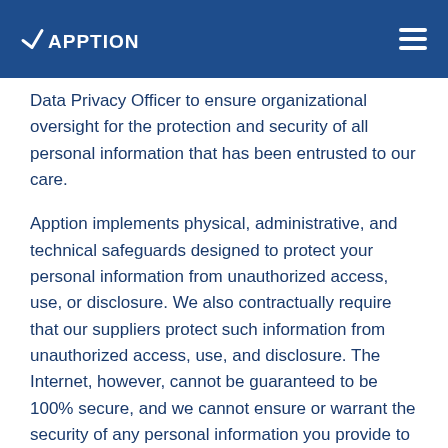Apption
Data Privacy Officer to ensure organizational oversight for the protection and security of all personal information that has been entrusted to our care.
Apption implements physical, administrative, and technical safeguards designed to protect your personal information from unauthorized access, use, or disclosure. We also contractually require that our suppliers protect such information from unauthorized access, use, and disclosure. The Internet, however, cannot be guaranteed to be 100% secure, and we cannot ensure or warrant the security of any personal information you provide to us
Retention of Personal Information